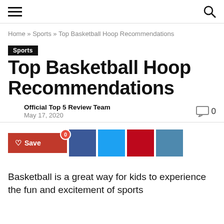[hamburger menu] [search icon]
Home » Sports » Top Basketball Hoop Recommendations
Sports
Top Basketball Hoop Recommendations
Official Top 5 Review Team
May 17, 2020
♡ Save 0 [Facebook] [Twitter] [Pinterest] [LinkedIn]
Basketball is a great way for kids to experience the fun and excitement of sports